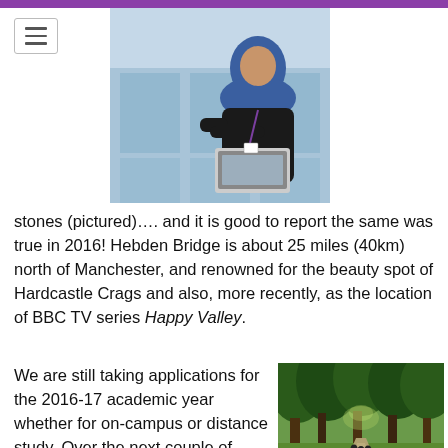[Figure (photo): Woman wearing hijab working on a laptop outdoors in front of a modern building]
stones (pictured)…. and it is good to report the same was true in 2016! Hebden Bridge is about 25 miles (40km) north of Manchester, and renowned for the beauty spot of Hardcastle Crags and also, more recently, as the location of BBC TV series Happy Valley.
We are still taking applications for the 2016-17 academic year whether for on-campus or distance study. Over the next couple of weeks on this blog we will be discussing the distance learning version of the course, its content and how it can be integrated with professional practice, and the
[Figure (photo): Group of people walking along a tree-lined path in a lush green woodland]